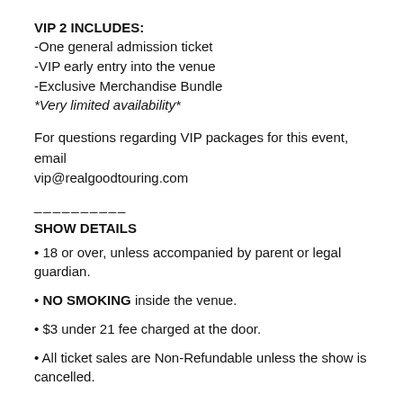VIP 2 INCLUDES:
-One general admission ticket
-VIP early entry into the venue
-Exclusive Merchandise Bundle
*Very limited availability*
For questions regarding VIP packages for this event, email vip@realgoodtouring.com
__________
SHOW DETAILS
• 18 or over, unless accompanied by parent or legal guardian.
• NO SMOKING inside the venue.
• $3 under 21 fee charged at the door.
• All ticket sales are Non-Refundable unless the show is cancelled.
__________
*** COVID / LEGAL WAIVER ***